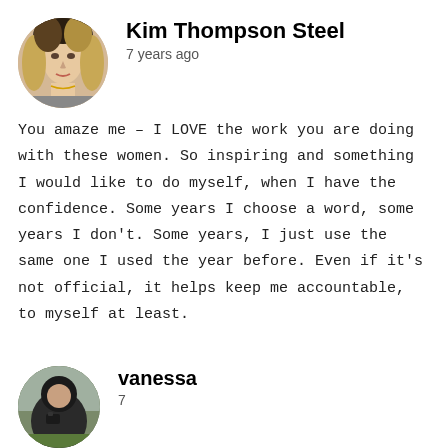[Figure (photo): Circular avatar photo of Kim Thompson Steel, a woman with blonde hair]
Kim Thompson Steel
7 years ago
You amaze me – I LOVE the work you are doing with these women. So inspiring and something I would like to do myself, when I have the confidence. Some years I choose a word, some years I don't. Some years, I just use the same one I used the year before. Even if it's not official, it helps keep me accountable, to myself at least.
[Figure (photo): Circular avatar photo of vanessa, a person with dark clothing outdoors]
vanessa
7